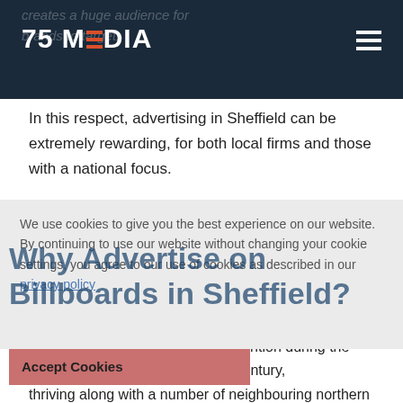75 MEDIA
In this respect, advertising in Sheffield can be extremely rewarding, for both local firms and those with a national focus.
We use cookies to give you the best experience on our website. By continuing to use our website without changing your cookie settings, you agree to our use of cookies as described in our privacy policy
Why Advertise on Billboards in Sheffield?
Sheffield came to international attention during the Industrial Revolution of the 19th century, thriving along with a number of neighbouring northern locations. During this time, it earned a